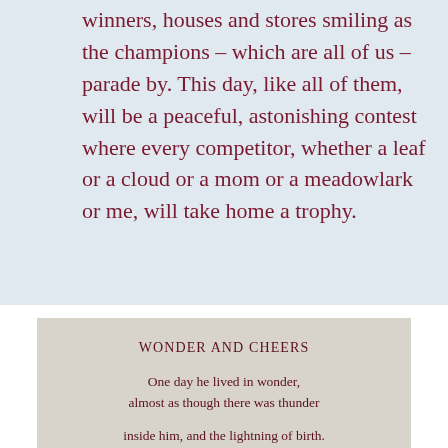winners, houses and stores smiling as the champions – which are all of us – parade by. This day, like all of them, will be a peaceful, astonishing contest where every competitor, whether a leaf or a cloud or a mom or a meadowlark or me, will take home a trophy.
WONDER AND CHEERS
One day he lived in wonder, almost as though there was thunder

inside him, and the lightning of birth. Where he stood on the earth